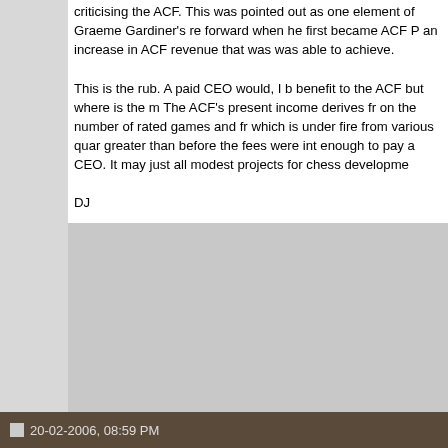criticising the ACF. This was pointed out as one element of Graeme Gardiner's re forward when he first became ACF P an increase in ACF revenue that was was able to achieve.

This is the rub. A paid CEO would, I b benefit to the ACF but where is the m The ACF's present income derives fr on the number of rated games and fr which is under fire from various quar greater than before the fees were int enough to pay a CEO. It may just all modest projects for chess developme

DJ
...I don't want to go among mad peop can't help that," said the Cat: we're a You're mad." "How do you know I'm m be," said the Cat ,"or you wouldn't ha
20-02-2006, 08:59 PM